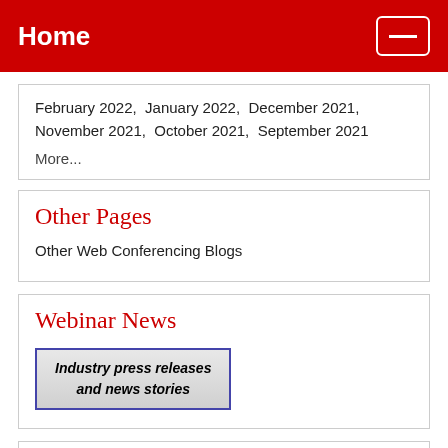Home
February 2022,  January 2022,  December 2021,  November 2021,  October 2021,  September 2021
More...
Other Pages
Other Web Conferencing Blogs
Webinar News
[Figure (other): Button graphic with text: Industry press releases and news stories]
Statistics